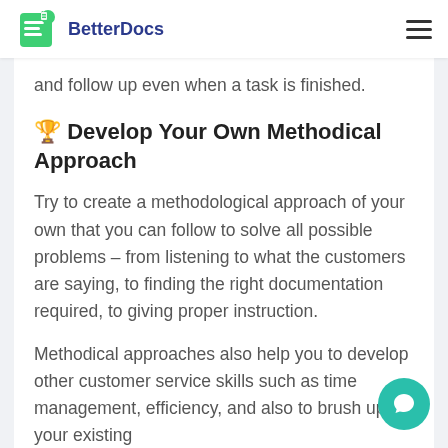BetterDocs
and follow up even when a task is finished.
🏆 Develop Your Own Methodical Approach
Try to create a methodological approach of your own that you can follow to solve all possible problems – from listening to what the customers are saying, to finding the right documentation required, to giving proper instruction.
Methodical approaches also help you to develop other customer service skills such as time management, efficiency, and also to brush up on your existing